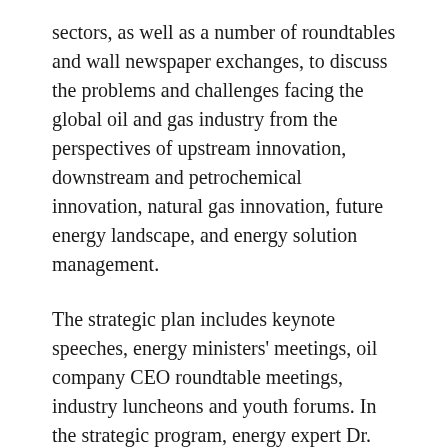sectors, as well as a number of roundtables and wall newspaper exchanges, to discuss the problems and challenges facing the global oil and gas industry from the perspectives of upstream innovation, downstream and petrochemical innovation, natural gas innovation, future energy landscape, and energy solution management.
The strategic plan includes keynote speeches, energy ministers' meetings, oil company CEO roundtable meetings, industry luncheons and youth forums. In the strategic program, energy expert Dr. Daniel Yergin, vice president of IHS Markit, will be presented with the Dewhurst Award for his role in energy, international politics and economics.
There will be more than 150 speakers, including government energy ministers, corporate ceos, industry experts and scholars, and more than 4,000